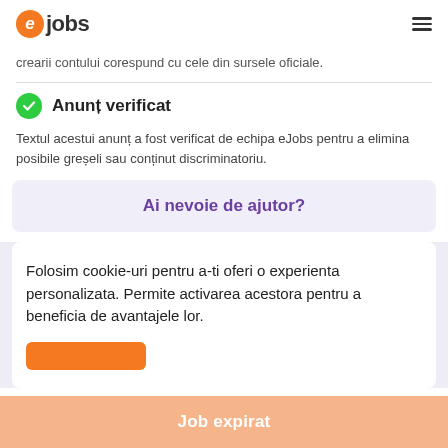ejobs [logo] [hamburger menu]
crearii contului corespund cu cele din sursele oficiale.
Anunț verificat
Textul acestui anunț a fost verificat de echipa eJobs pentru a elimina posibile greșeli sau conținut discriminatoriu.
Ai nevoie de ajutor?
Folosim cookie-uri pentru a-ti oferi o experienta personalizata. Permite activarea acestora pentru a beneficia de avantajele lor.
Job expirat